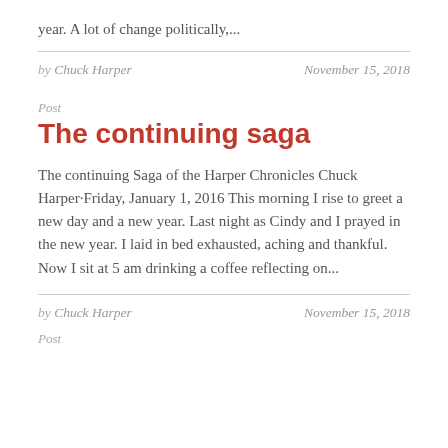year. A lot of change politically,...
by Chuck Harper  November 15, 2018
Post
The continuing saga
The continuing Saga of the Harper Chronicles Chuck Harper·Friday, January 1, 2016 This morning I rise to greet a new day and a new year. Last night as Cindy and I prayed in the new year. I laid in bed exhausted, aching and thankful. Now I sit at 5 am drinking a coffee reflecting on...
by Chuck Harper  November 15, 2018
Post